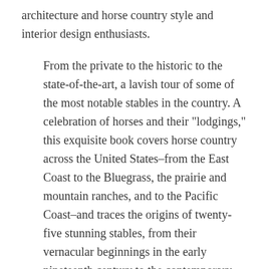architecture and horse country style and interior design enthusiasts.
From the private to the historic to the state-of-the-art, a lavish tour of some of the most notable stables in the country. A celebration of horses and their "lodgings," this exquisite book covers horse country across the United States–from the East Coast to the Bluegrass, the prairie and mountain ranches, and to the Pacific Coast–and traces the origins of twenty-five stunning stables, from their vernacular beginnings in the early nineteenth century to the contemporary designs of today. Included are a farm in the countryside near Saratoga Springs, New York, which bears an 1830s-constructed main barn that originally housed draft horses and now accommodates retired race horses